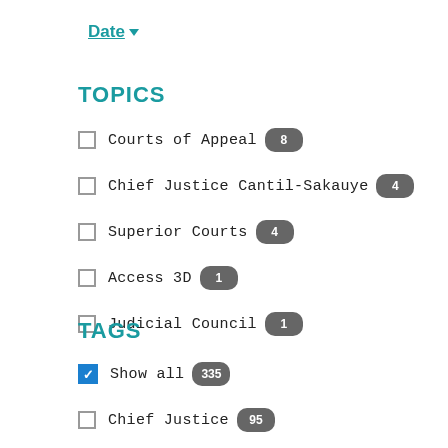Date ▼
TOPICS
Courts of Appeal 8
Chief Justice Cantil-Sakauye 4
Superior Courts 4
Access 3D 1
Judicial Council 1
TAGS
Show all 335
Chief Justice 95
Judicial Council 86